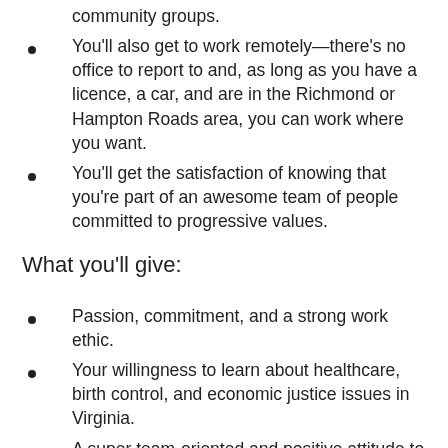community groups.
You'll also get to work remotely—there's no office to report to and, as long as you have a licence, a car, and are in the Richmond or Hampton Roads area, you can work where you want.
You'll get the satisfaction of knowing that you're part of an awesome team of people committed to progressive values.
What you'll give:
Passion, commitment, and a strong work ethic.
Your willingness to learn about healthcare, birth control, and economic justice issues in Virginia.
A super team-oriented and positive attitude to do what it takes to inspire and engage